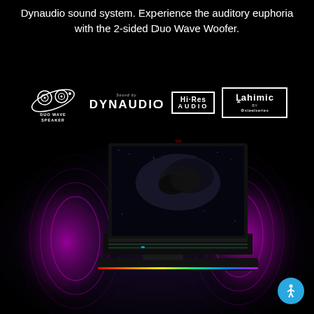Dynaudio sound system. Experience the auditory euphoria with the 2-sided Duo Wave Woofer.
[Figure (logo): Row of audio brand logos: Duo Wave Speaker logo (concentric circles orbital icon), Sound by DYNAUDIO text logo, Hi-Res AUDIO logo (bordered box), Nahimic by SteelSeries logo (bordered box)]
[Figure (photo): MSI gaming laptop open, facing viewer, with purple sound wave rings emanating from both sides, RGB lighting strip along bottom edge, RGB keyboard, dark space-themed wallpaper on screen, against a black background]